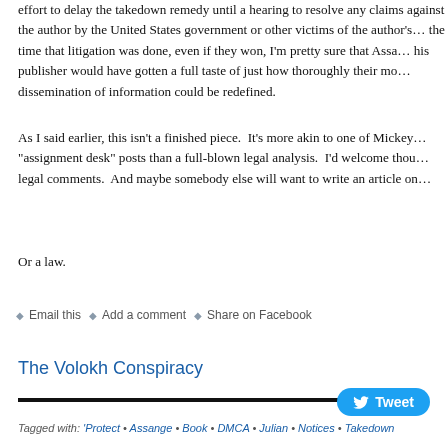…effort to delay the takedown remedy until a hearing to resolve any claims against the author by the United States government or other victims of the author's… the time that litigation was done, even if they won, I'm pretty sure that Assa… his publisher would have gotten a full taste of just how thoroughly their mo… dissemination of information could be redefined.
As I said earlier, this isn't a finished piece. It's more akin to one of Mickey… "assignment desk" posts than a full-blown legal analysis. I'd welcome thou… legal comments. And maybe somebody else will want to write an article on…
Or a law.
◆ Email this  ◆ Add a comment  ◆ Share on Facebook
The Volokh Conspiracy
[Figure (other): Tweet button with Twitter bird icon]
Tagged with: 'Protect • Assange • Book • DMCA • Julian • Notices • Takedown